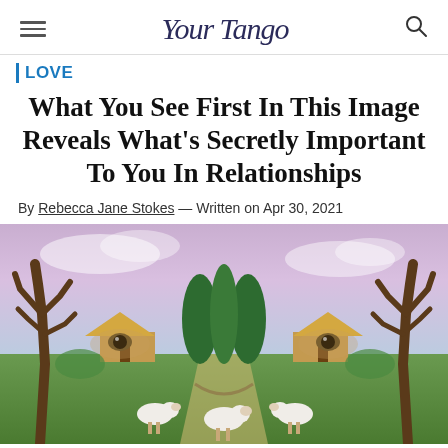Your Tango
LOVE
What You See First In This Image Reveals What's Secretly Important To You In Relationships
By Rebecca Jane Stokes — Written on Apr 30, 2021
[Figure (illustration): Optical illusion painting showing a landscape with trees, a cottage, and grazing sheep that also forms the face of an old man with eyes visible in the scenery.]